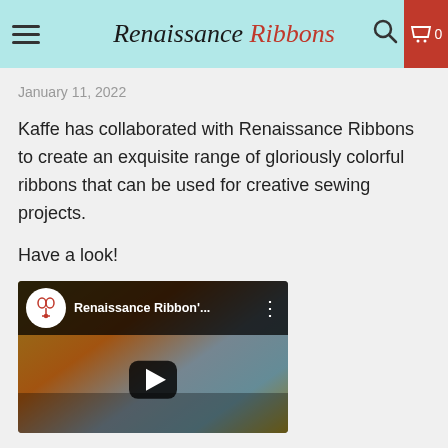Renaissance Ribbons
January 11, 2022
Kaffe has collaborated with Renaissance Ribbons to create an exquisite range of gloriously colorful ribbons that can be used for creative sewing projects.
Have a look!
[Figure (screenshot): YouTube video thumbnail showing Renaissance Ribbon's channel icon with red RR logo, channel name 'Renaissance Ribbon'... and a play button overlay on a colorful blurred background]